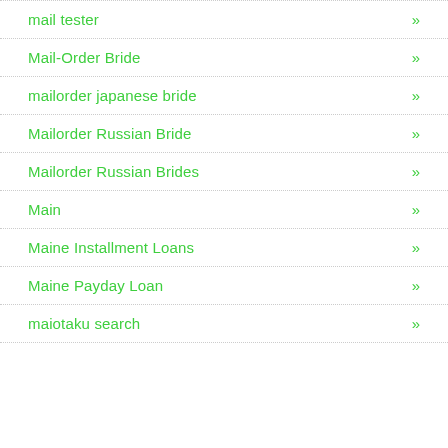mail tester »
Mail-Order Bride »
mailorder japanese bride »
Mailorder Russian Bride »
Mailorder Russian Brides »
Main »
Maine Installment Loans »
Maine Payday Loan »
maiotaku search »